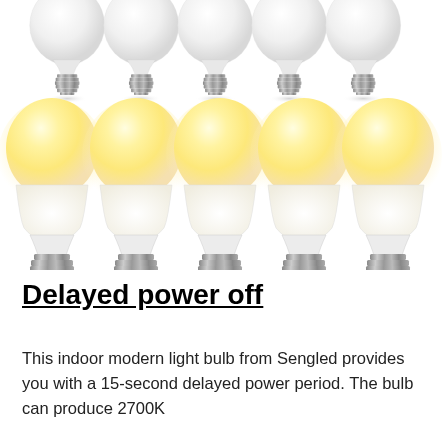[Figure (photo): Ten LED light bulbs arranged in two rows. Top row shows 5 smaller bulbs with metallic screw bases unlit (white globes). Bottom row shows 5 larger bulbs glowing with warm yellow-white light (2700K) with metallic screw bases, on a white background.]
Delayed power off
This indoor modern light bulb from Sengled provides you with a 15-second delayed power period. The bulb can produce 2700K